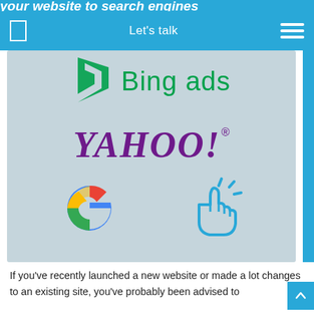your website to search engines
[Figure (screenshot): Navigation bar with square icon on left, 'Let's talk' text in center-right, and hamburger menu icon on right, on a blue background]
[Figure (illustration): Image panel showing Bing ads logo (green Bing chevron icon with 'Bing ads' text), Yahoo! logo in purple serif font, Google 'G' logo in multicolor, and a blue clicking hand cursor icon, all on a light blue-grey background]
If you've recently launched a new website or made a lot changes to an existing site, you've probably been advised to